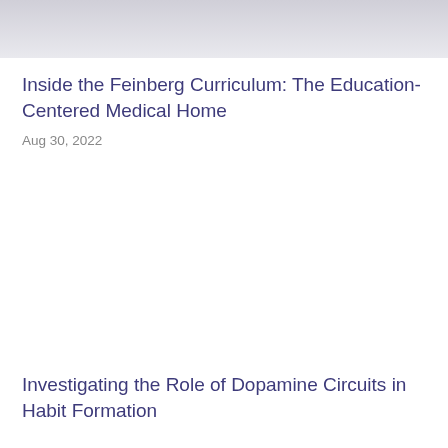[Figure (photo): Top portion of a photo, appears to be a medical or academic setting, light gray/white tones]
Inside the Feinberg Curriculum: The Education-Centered Medical Home
Aug 30, 2022
[Figure (photo): Middle section of a photo, white/light background, partially visible]
Investigating the Role of Dopamine Circuits in Habit Formation